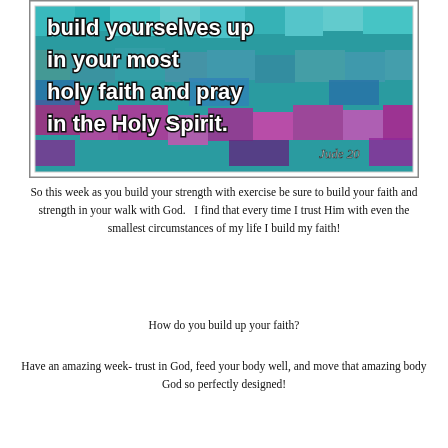[Figure (illustration): Decorative image with colorful mosaic/pixel background in teal, blue, and purple hues. Bold white text with dark outline reads: 'build yourselves up in your most holy faith and pray in the Holy Spirit.' with 'Jude 20' in italic script at the bottom right. Image has a white border/frame.]
So this week as you build your strength with exercise be sure to build your faith and strength in your walk with God.   I find that every time I trust Him with even the smallest circumstances of my life I build my faith!
How do you build up your faith?
Have an amazing week- trust in God, feed your body well, and move that amazing body God so perfectly designed!